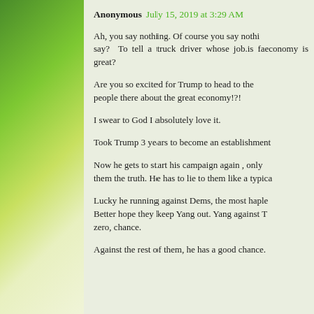Anonymous July 15, 2019 at 3:29 AM
Ah, you say nothing. Of course you say nothing. What can you say? To tell a truck driver whose job.is facing elimination economy is great?
Are you so excited for Trump to head to the people there about the great economy!?!
I swear to God I absolutely love it.
Took Trump 3 years to become an establishment
Now he gets to start his campaign again , only them the truth. He has to lie to them like a typica
Lucky he running against Dems, the most haple Better hope they keep Yang out. Yang against T zero, chance.
Against the rest of them, he has a good chance.